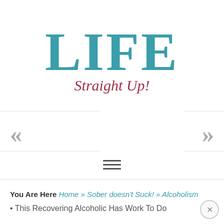LIFE Straight Up!
[Figure (illustration): Navigation arrows: double left chevron on left side, double right chevron on right side, with dotted horizontal lines]
[Figure (other): Hamburger menu icon (three horizontal lines)]
You Are Here Home » Sober doesn't Suck! » Alcoholism • This Recovering Alcoholic Has Work To Do